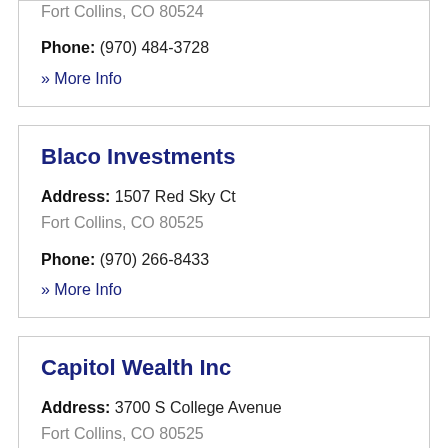Fort Collins, CO 80524
Phone: (970) 484-3728
» More Info
Blaco Investments
Address: 1507 Red Sky Ct
Fort Collins, CO 80525
Phone: (970) 266-8433
» More Info
Capitol Wealth Inc
Address: 3700 S College Avenue
Fort Collins, CO 80525
Phone: (970) 204-1010